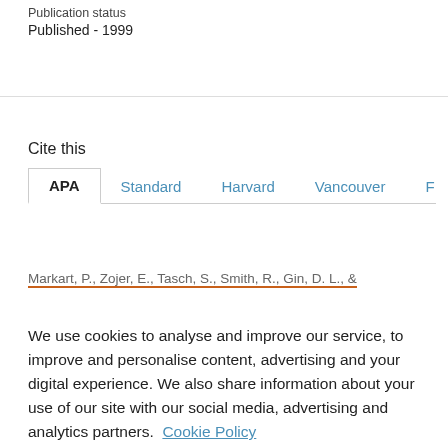Publication status
Published - 1999
Cite this
APA | Standard | Harvard | Vancouver | F
Markart, P., Zojer, E., Tasch, S., Smith, R., Gin, D. L., & ...
We use cookies to analyse and improve our service, to improve and personalise content, advertising and your digital experience. We also share information about your use of our site with our social media, advertising and analytics partners.  Cookie Policy